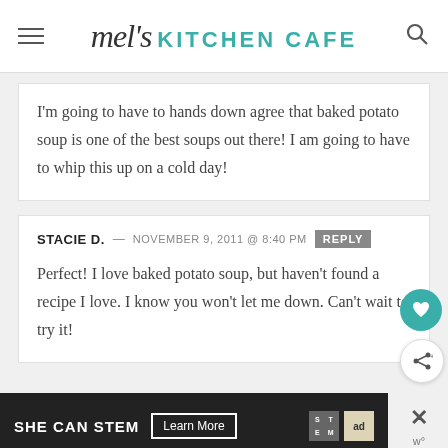mel's KITCHEN CAFE
I'm going to have to hands down agree that baked potato soup is one of the best soups out there! I am going to have to whip this up on a cold day!
STACIE D. — NOVEMBER 9, 2011 @ 8:40 PM REPLY
Perfect! I love baked potato soup, but haven't found a recipe I love. I know you won't let me down. Can't wait to try it!
[Figure (other): Advertisement banner: SHE CAN STEM Learn More with STEM and Ad Council logos]